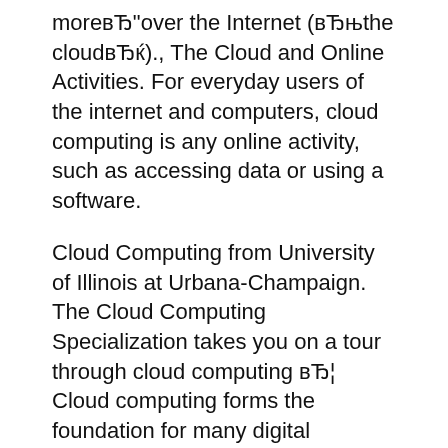moreвЂ“over the Internet (вЂљthe cloudвЂњ)., The Cloud and Online Activities. For everyday users of the internet and computers, cloud computing is any online activity, such as accessing data or using a software.
Cloud Computing from University of Illinois at Urbana-Champaign. The Cloud Computing Specialization takes you on a tour through cloud computing вЂ¦ Cloud computing forms the foundation for many digital business initiatives. A solid cloud strategy will help you maximize the value of your cloud investments.
The term “cloud computing” is...